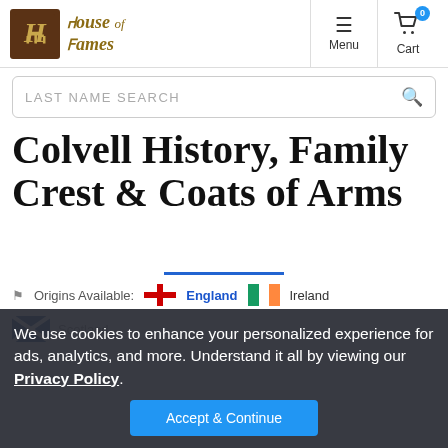[Figure (logo): House of Names logo with medieval H icon and gothic text]
Colvell History, Family Crest & Coats of Arms
Origins Available: England  Ireland
Scotland
We use cookies to enhance your personalized experience for ads, analytics, and more. Understand it all by viewing our Privacy Policy.
Accept & Continue